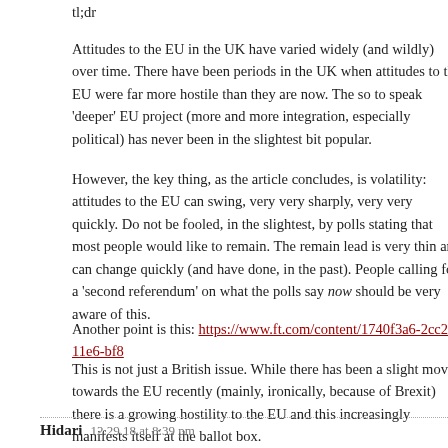tl;dr
Attitudes to the EU in the UK have varied widely (and wildly) over time. There have been periods in the UK when attitudes to the EU were far more hostile than they are now. The so to speak 'deeper' EU project (more and more integration, especially political) has never been in the slightest bit popular.
However, the key thing, as the article concludes, is volatility: attitudes to the EU can swing, very very sharply, very very quickly. Do not be fooled, in the slightest, by polls stating that most people would like to remain. The remain lead is very thin and can change quickly (and have done, in the past). People calling for a 'second referendum' on what the polls say now should be very aware of this.
Another point is this: https://www.ft.com/content/1740f3a6-2cc2-11e6-bf8...
This is not just a British issue. While there has been a slight move towards the EU recently (mainly, ironically, because of Brexit) there is a growing hostility to the EU and this increasingly manifests itself at the ballot box.
Hidari   12.29.18 at 8:39 pm